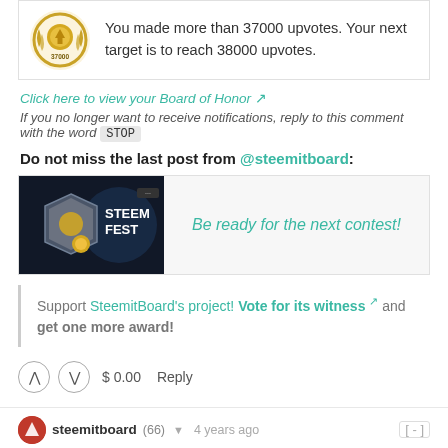You made more than 37000 upvotes. Your next target is to reach 38000 upvotes.
Click here to view your Board of Honor
If you no longer want to receive notifications, reply to this comment with the word STOP
Do not miss the last post from @steemitboard:
[Figure (screenshot): SteemFest promotional image with dark background and silver/gold badge]
Be ready for the next contest!
Support SteemitBoard's project! Vote for its witness and get one more award!
$ 0.00  Reply
steemitboard (66) 4 years ago
Congratulations @steempress-io! You have completed the following achievement on the Steem blockchain and have been rewarded with new badge(s) :